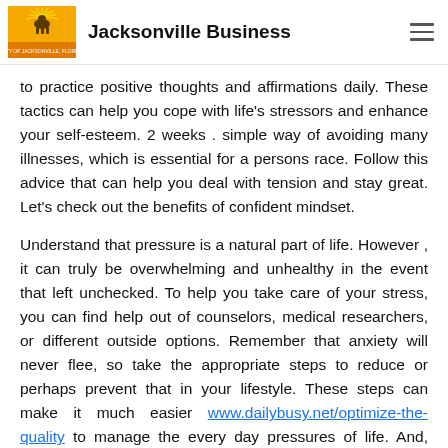Jacksonville Business
to practice positive thoughts and affirmations daily. These tactics can help you cope with life's stressors and enhance your self-esteem. 2 weeks . simple way of avoiding many illnesses, which is essential for a persons race. Follow this advice that can help you deal with tension and stay great. Let's check out the benefits of confident mindset.
Understand that pressure is a natural part of life. However , it can truly be overwhelming and unhealthy in the event that left unchecked. To help you take care of your stress, you can find help out of counselors, medical researchers, or different outside options. Remember that anxiety will never flee, so take the appropriate steps to reduce or perhaps prevent that in your lifestyle. These steps can make it much easier www.dailybusy.net/optimize-the-quality to manage the every day pressures of life. And, they'll also help you live a better, much healthier life.
Develop clear valuations. Knowing what you value will allow you to